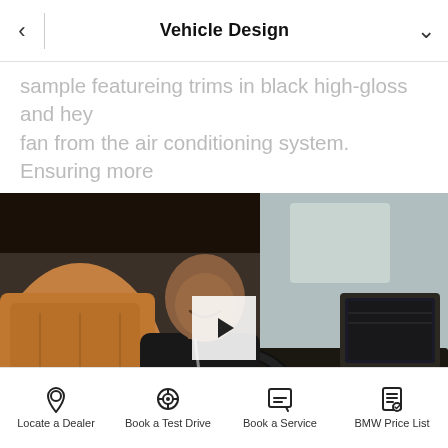Vehicle Design
comfort and intuitive operation are the sport seats in perforated Sensatec fitted as standard and the 10.25" central information display, which can even be enlarged to 12" if required.
[Figure (photo): Video still of a man sitting in the driver's seat of a BMW interior with tan leather seats, pointing at the central information display screen. A play button overlay is visible in the center of the image.]
Locate a Dealer | Book a Test Drive | Book a Service | BMW Price List